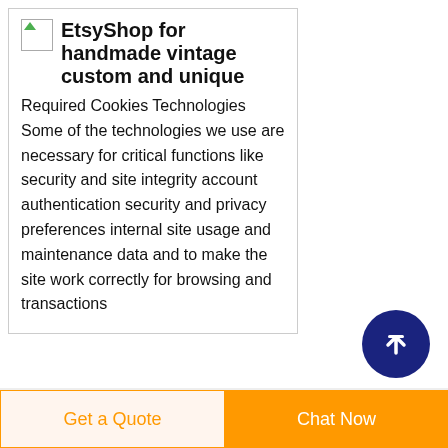EtsyShop for handmade vintage custom and unique
Required Cookies Technologies Some of the technologies we use are necessary for critical functions like security and site integrity account authentication security and privacy preferences internal site usage and maintenance data and to make the site work correctly for browsing and transactions
[Figure (other): Dark blue circular button with white upward arrow, used as a scroll-to-top button]
Get a Quote
Chat Now